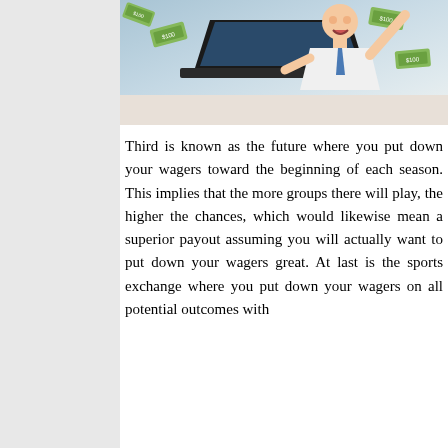[Figure (photo): Man in white shirt and blue tie celebrating with arms raised, money flying around, laptop computer in foreground]
Third is known as the future where you put down your wagers toward the beginning of each season. This implies that the more groups there will play, the higher the chances, which would likewise mean a superior payout assuming you will actually want to put down your wagers great. At last is the sports exchange where you put down your wagers on all potential outcomes with